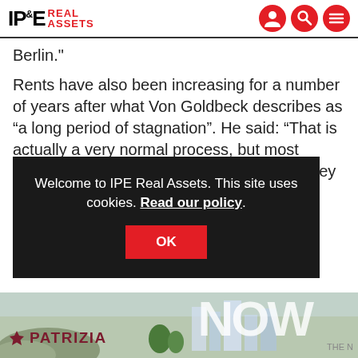[Figure (logo): IPE Real Assets logo with red 'REAL ASSETS' text and user/search/menu icons]
Berlin."
Rents have also been increasing for a number of years after what Von Goldbeck describes as “a long period of stagnation”. He said: “That is actually a very normal process, but most Germans are adjusted to very low rents. They are getting nervous when they ar... m... p...
Welcome to IPE Real Assets. This site uses cookies. Read our policy.
OK
Th
[Figure (photo): PATRIZIA advertisement banner with building imagery and 'NOW' text]